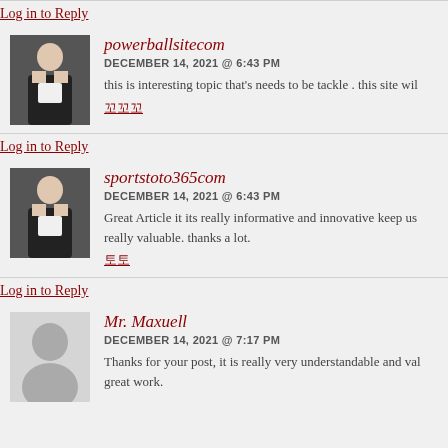Log in to Reply
powerballsitecom
DECEMBER 14, 2021 @ 6:43 PM
this is interesting topic that’s needs to be tackle . this site wil…
칔칔칔
Log in to Reply
sportstoto365com
DECEMBER 14, 2021 @ 6:43 PM
Great Article it its really informative and innovative keep us really valuable. thanks a lot.
토토
Log in to Reply
Mr. Maxuell
DECEMBER 14, 2021 @ 7:17 PM
Thanks for your post, it is really very understandable and val… great work.